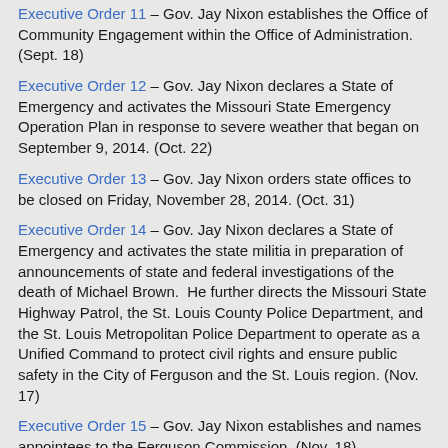Executive Order 11 – Gov. Jay Nixon establishes the Office of Community Engagement within the Office of Administration. (Sept. 18)
Executive Order 12 – Gov. Jay Nixon declares a State of Emergency and activates the Missouri State Emergency Operation Plan in response to severe weather that began on September 9, 2014. (Oct. 22)
Executive Order 13 – Gov. Jay Nixon orders state offices to be closed on Friday, November 28, 2014. (Oct. 31)
Executive Order 14 – Gov. Jay Nixon declares a State of Emergency and activates the state militia in preparation of announcements of state and federal investigations of the death of Michael Brown. He further directs the Missouri State Highway Patrol, the St. Louis County Police Department, and the St. Louis Metropolitan Police Department to operate as a Unified Command to protect civil rights and ensure public safety in the City of Ferguson and the St. Louis region. (Nov. 17)
Executive Order 15 – Gov. Jay Nixon establishes and names appointees to the Ferguson Commission. (Nov. 18)